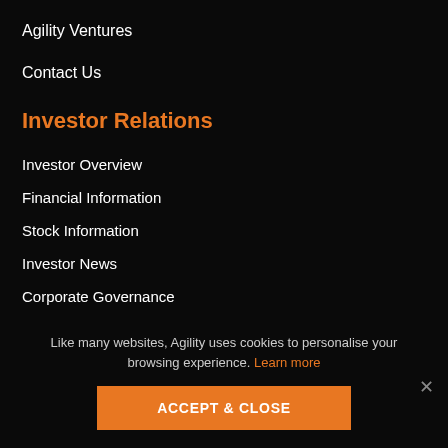Agility Ventures
Contact Us
Investor Relations
Investor Overview
Financial Information
Stock Information
Investor News
Corporate Governance
Financial Calendar
For Shareholders: Update Your Info
Like many websites, Agility uses cookies to personalise your browsing experience. Learn more
ACCEPT & CLOSE